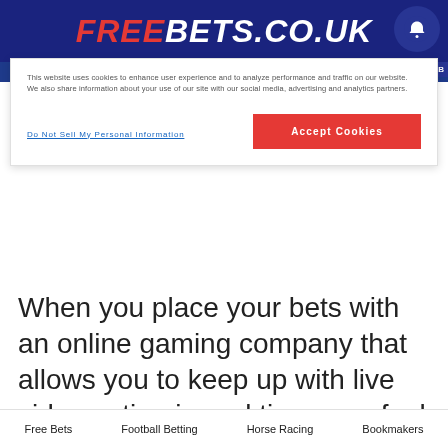FREEBETS.CO.UK
This website uses cookies to enhance user experience and to analyze performance and traffic on our website. We also share information about your use of our site with our social media, advertising and analytics partners.
Do Not Sell My Personal Information
Accept Cookies
When you place your bets with an online gaming company that allows you to keep up with live video action in real time, you feel like you have everything you need at your fingertips, as the applicable betting markets are also available on the same screen. There is no longer any need to flick between multiple windows or tabs, and there are usually no additional charges for
Free Bets   Football Betting   Horse Racing   Bookmakers